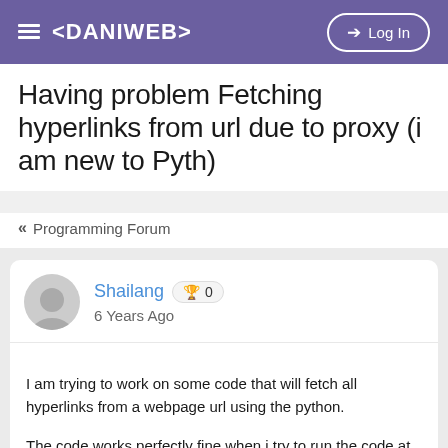≡ <DANIWEB>   → Log In
Having problem Fetching hyperlinks from url due to proxy (i am new to Pyth)
« Programming Forum
Shailang 🏆 0
6 Years Ago
I am trying to work on some code that will fetch all hyperlinks from a webpage url using the python.

The code works perfectly fine when i try to run the code at home network without my proxy. When i have to show the code to my teacher in my University - it would never work because of the proxy my University is using. Its proxy that